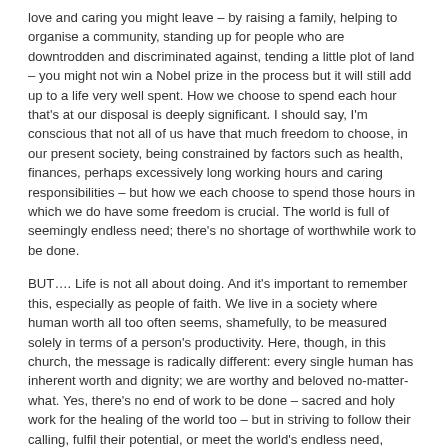love and caring you might leave – by raising a family, helping to organise a community, standing up for people who are downtrodden and discriminated against, tending a little plot of land – you might not win a Nobel prize in the process but it will still add up to a life very well spent. How we choose to spend each hour that's at our disposal is deeply significant. I should say, I'm conscious that not all of us have that much freedom to choose, in our present society, being constrained by factors such as health, finances, perhaps excessively long working hours and caring responsibilities – but how we each choose to spend those hours in which we do have some freedom is crucial. The world is full of seemingly endless need; there's no shortage of worthwhile work to be done.
BUT…. Life is not all about doing. And it's important to remember this, especially as people of faith. We live in a society where human worth all too often seems, shamefully, to be measured solely in terms of a person's productivity. Here, though, in this church, the message is radically different: every single human has inherent worth and dignity; we are worthy and beloved no-matter-what. Yes, there's no end of work to be done – sacred and holy work for the healing of the world too – but in striving to follow their calling, fulfil their potential, or meet the world's endless need, people often neglect to look after themselves properly, and risk burnout. We are worth more than that. There can be a sort of violence embedded in this fervent drive for achievement and productivity even when it seems to arise from the best of intentions or seems to be in aid of a good cause. Of course we should aspire to make a positive mark on the world, leave it better than we found it. But, in a paradoxical way, it